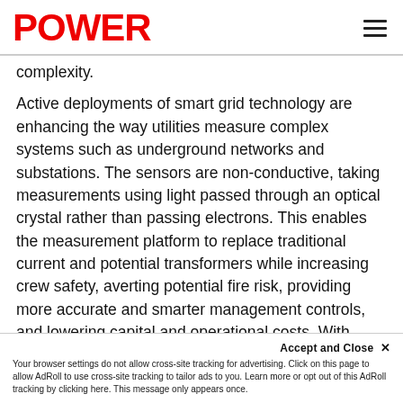POWER
complexity.
Active deployments of smart grid technology are enhancing the way utilities measure complex systems such as underground networks and substations. The sensors are non-conductive, taking measurements using light passed through an optical crystal rather than passing electrons. This enables the measurement platform to replace traditional current and potential transformers while increasing crew safety, averting potential fire risk, providing more accurate and smarter management controls, and lowering capital and operational costs. With overhead, underground, and groundless options available, the sensors can be easily deployed where they are most
Your browser settings do not allow cross-site tracking for advertising. Click on this page to allow AdRoll to use cross-site tracking to tailor ads to you. Learn more or opt out of this AdRoll tracking by clicking here. This message only appears once.